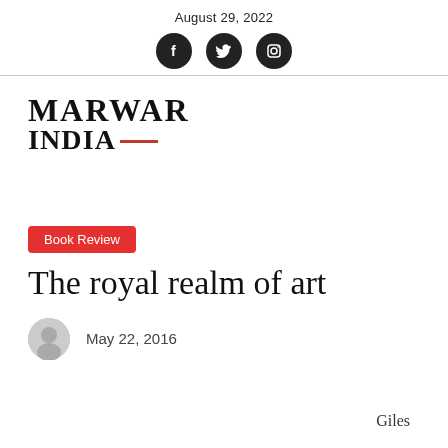August 29, 2022
[Figure (logo): Social media icons: Facebook, Twitter, Instagram — three black circles with white icons]
[Figure (logo): Marwar India magazine logo with red dash underline]
Book Review
The royal realm of art
May 22, 2016
Giles